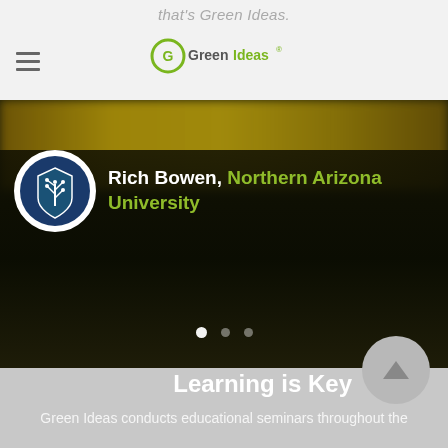that's Green Ideas.
[Figure (logo): Green Ideas logo with circular G icon and text 'GreenIdeas' with registered trademark symbol]
[Figure (photo): Blurred dark background image of what appears to be a sports field or stadium with yellow/green bokeh lights at top. Features a circular avatar of Northern Arizona University logo and text 'Rich Bowen, Northern Arizona University' with carousel navigation dots below.]
Rich Bowen, Northern Arizona University
Learning is Key
Green Ideas conducts educational seminars throughout the